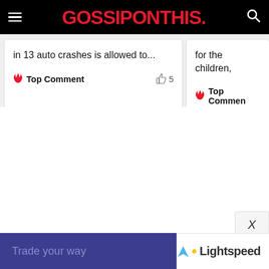GOSSIPONTHIS.
in 13 auto crashes is allowed to...
Top Comment  👍 5
for the children,
Top Comment
[Figure (screenshot): Advertisement banner: 'Trade your way' with Lightspeed logo]